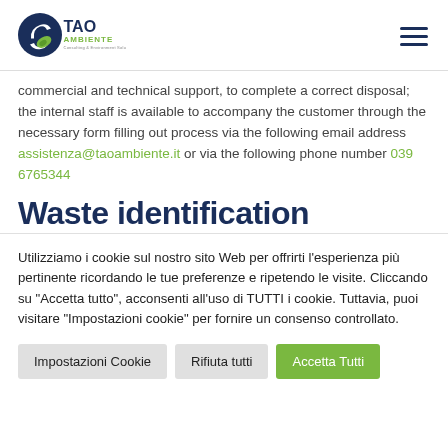TAO Ambiente logo and hamburger menu
commercial and technical support, to complete a correct disposal; the internal staff is available to accompany the customer through the necessary form filling out process via the following email address assistenza@taoambiente.it or via the following phone number 039 6765344
Waste identification
Utilizziamo i cookie sul nostro sito Web per offrirti l'esperienza più pertinente ricordando le tue preferenze e ripetendo le visite. Cliccando su "Accetta tutto", acconsenti all'uso di TUTTI i cookie. Tuttavia, puoi visitare "Impostazioni cookie" per fornire un consenso controllato.
Impostazioni Cookie | Rifiuta tutti | Accetta Tutti